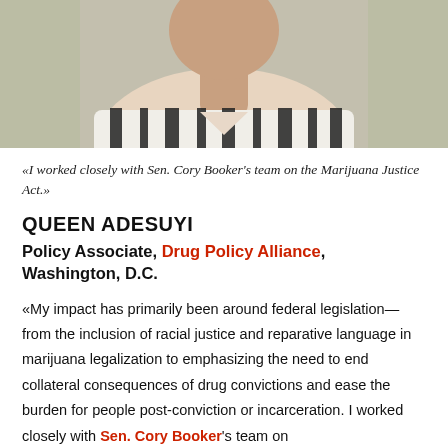[Figure (photo): Partial photo of Queen Adesuyi, showing chest/shoulders area with a striped black and white shirt, cropped at top of head]
«I worked closely with Sen. Cory Booker's team on the Marijuana Justice Act.»
QUEEN ADESUYI
Policy Associate, Drug Policy Alliance, Washington, D.C.
«My impact has primarily been around federal legislation—from the inclusion of racial justice and reparative language in marijuana legalization to emphasizing the need to end collateral consequences of drug convictions and ease the burden for people post-conviction or incarceration. I worked closely with Sen. Cory Booker's team on